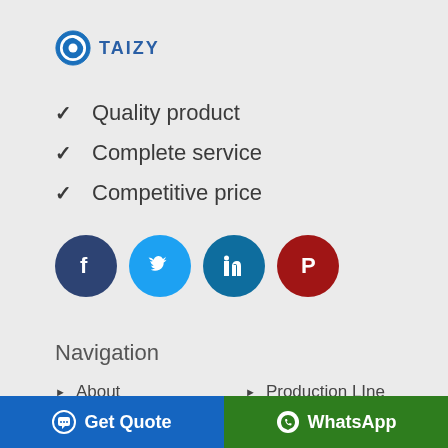[Figure (logo): Taizy company logo with circular blue icon and TAIZY text]
Quality product
Complete service
Competitive price
[Figure (infographic): Social media share buttons: Facebook (dark blue circle), Twitter (light blue circle), LinkedIn (teal circle), Pinterest (red circle)]
Navigation
About
Services
Production LIne
Pellet Machine
Get Quote   WhatsApp